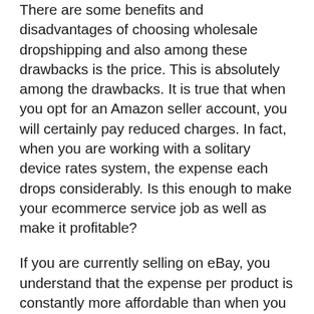There are some benefits and disadvantages of choosing wholesale dropshipping and also among these drawbacks is the price. This is absolutely among the drawbacks. It is true that when you opt for an Amazon seller account, you will certainly pay reduced charges. In fact, when you are working with a solitary device rates system, the expense each drops considerably. Is this enough to make your ecommerce service job as well as make it profitable?
If you are currently selling on eBay, you understand that the expense per product is constantly more affordable than when you list it on ebay.com and you do not have to store any kind of stock. This means you can conserve a great deal of money in storage